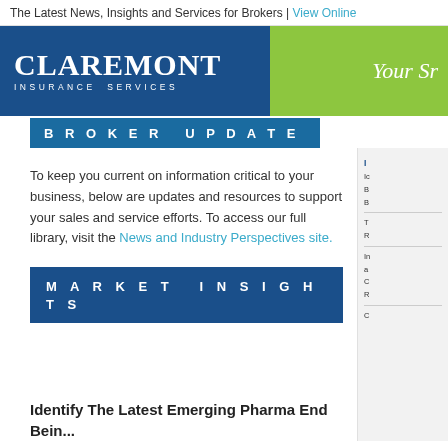The Latest News, Insights and Services for Brokers | View Online
[Figure (logo): Claremont Insurance Services logo in white text on dark blue background with green banner and italic tagline 'Your Sr']
BROKER UPDATE
To keep you current on information critical to your business, below are updates and resources to support your sales and service efforts. To access our full library, visit the News and Industry Perspectives site.
MARKET INSIGHTS
Identify The Latest Emerging Pharma End Poin...